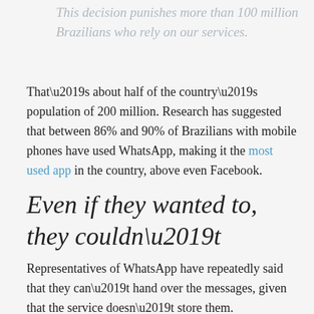This decision punishes more than 100 million Brazilians who rely on our services.
That’s about half of the country’s population of 200 million. Research has suggested that between 86% and 90% of Brazilians with mobile phones have used WhatsApp, making it the most used app in the country, above even Facebook.
Even if they wanted to, they couldn’t
Representatives of WhatsApp have repeatedly said that they can’t hand over the messages, given that the service doesn’t store them.